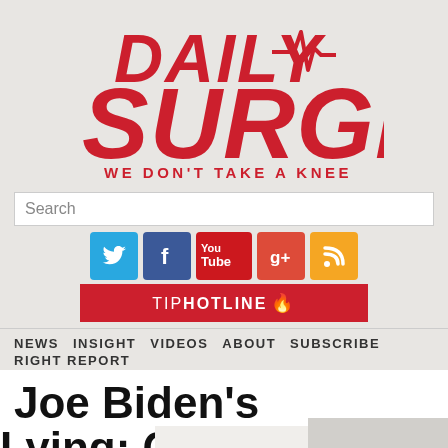[Figure (logo): Daily Surge logo with red italic text 'DAILY SURGE' and tagline 'WE DON'T TAKE A KNEE' with ECG/heartbeat line graphic]
[Figure (screenshot): Search bar input field with placeholder text 'Search']
[Figure (infographic): Social media icons row: Twitter (blue bird), Facebook (blue f), YouTube (red), Google+ (red), RSS (orange). Below: red TIP HOTLINE button]
NEWS   INSIGHT   VIDEOS   ABOUT   SUBSCRIBE   RIGHT REPORT
Joe Biden's Habitual Lying: Claims of Att…